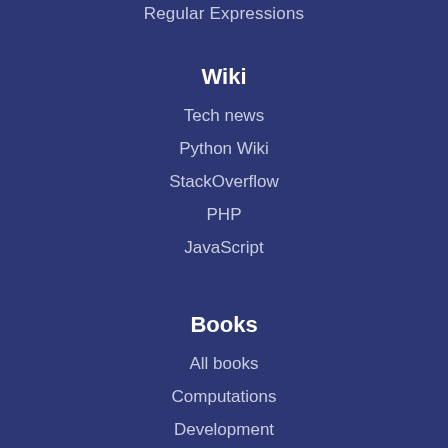Regular Expressions
Wiki
Tech news
Python Wiki
StackOverflow
PHP
JavaScript
Books
All books
Computations
Development
Cryptography
For dummies
Big Data